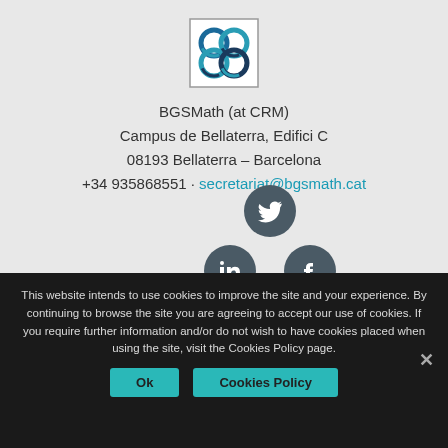[Figure (logo): BGSMath logo: square with decorative interlinked circular pattern in teal/blue/dark colors]
BGSMath (at CRM)
Campus de Bellaterra, Edifici C
08193 Bellaterra – Barcelona
+34 935868551 · secretariat@bgsmath.cat
[Figure (illustration): Social media icon buttons: Twitter (top), LinkedIn and Facebook (middle row), RSS feed (bottom)]
[Figure (illustration): Left sidebar with social media icons: Facebook, Twitter, Google+, LinkedIn in teal squares]
This website intends to use cookies to improve the site and your experience. By continuing to browse the site you are agreeing to accept our use of cookies. If you require further information and/or do not wish to have cookies placed when using the site, visit the Cookies Policy page.
Ok   Cookies Policy